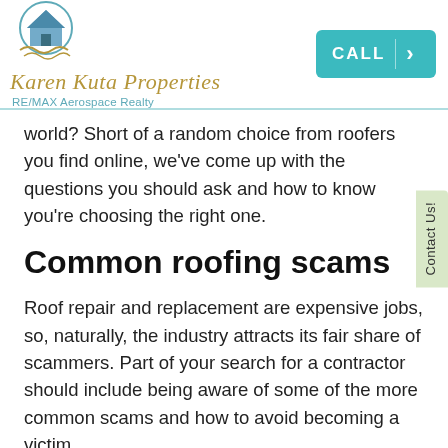[Figure (logo): Karen Kuta Properties RE/MAX Aerospace Realty logo with house illustration and CALL button]
world? Short of a random choice from roofers you find online, we've come up with the questions you should ask and how to know you're choosing the right one.
Common roofing scams
Roof repair and replacement are expensive jobs, so, naturally, the industry attracts its fair share of scammers. Part of your search for a contractor should include being aware of some of the more common scams and how to avoid becoming a victim.